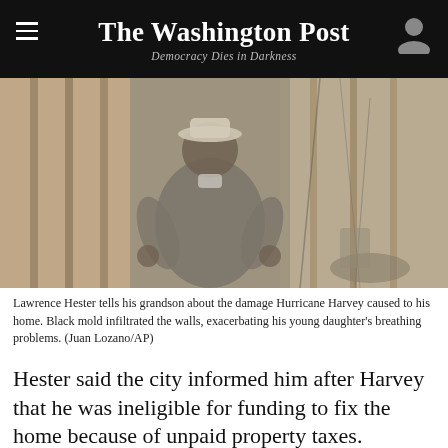The Washington Post — Democracy Dies in Darkness
[Figure (photo): A man in a hat and grey shirt stands inside a damaged home with exposed wooden framing, insulation, and debris visible. He appears to be talking, gesturing with his hands. The photo is muted/faded in tone.]
Lawrence Hester tells his grandson about the damage Hurricane Harvey caused to his home. Black mold infiltrated the walls, exacerbating his young daughter's breathing problems. (Juan Lozano/AP)
Hester said the city informed him after Harvey that he was ineligible for funding to fix the home because of unpaid property taxes.